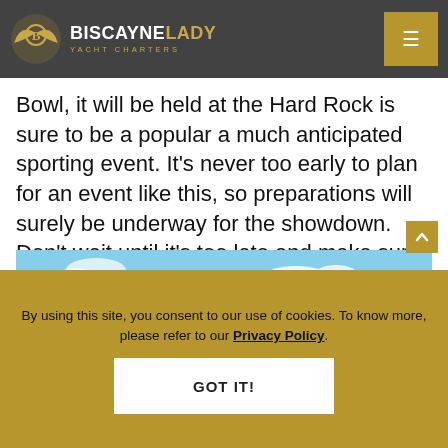BISCAYNELADY YACHT CHARTERS
Bowl, it will be held at the Hard Rock is sure to be a popular a much anticipated sporting event. It's never too early to plan for an event like this, so preparations will surely be underway for the showdown. Don't wait until it's too late and make sure to inquire about hosting your own event on the water!
[Figure (photo): View from the deck of a yacht showing Miami city skyline across blue-green water, with yacht railings in the foreground and blue sky with clouds above.]
By using this site, you consent to our use of cookies. To know more, please refer to our Privacy Policy.
GOT IT!